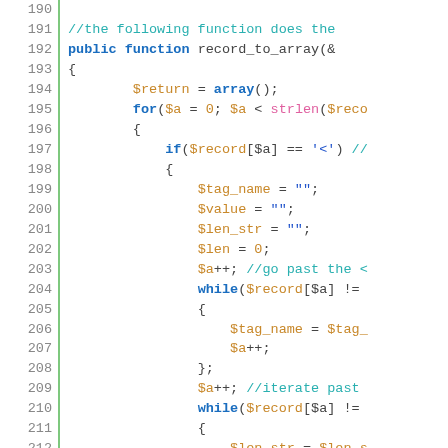[Figure (screenshot): Source code listing showing PHP function record_to_array with syntax highlighting, line numbers 190-215, with a green vertical bar separating line numbers from code content.]